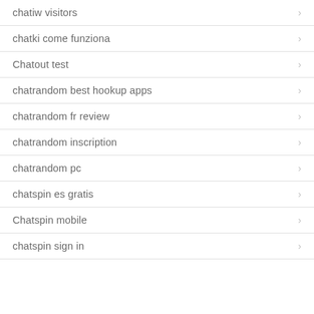chatiw visitors
chatki come funziona
Chatout test
chatrandom best hookup apps
chatrandom fr review
chatrandom inscription
chatrandom pc
chatspin es gratis
Chatspin mobile
chatspin sign in